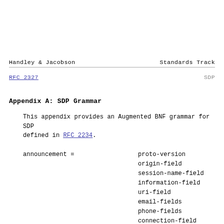Handley & Jacobson                    Standards Track
RFC 2327                                          SDP
Appendix A: SDP Grammar
This appendix provides an Augmented BNF grammar for SDP defined in RFC 2234.
announcement =          proto-version
                        origin-field
                        session-name-field
                        information-field
                        uri-field
                        email-fields
                        phone-fields
                        connection-field
                        bandwidth-fields